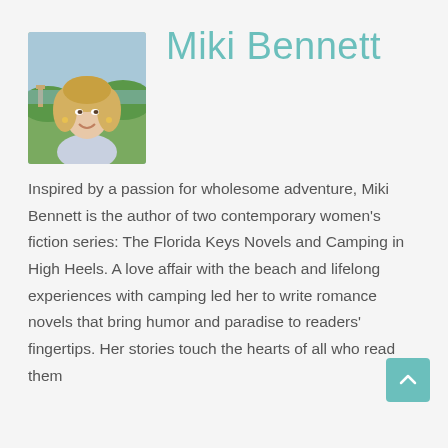[Figure (photo): Headshot photo of Miki Bennett, a woman with curly blonde hair, smiling, outdoors near water with greenery in the background.]
Miki Bennett
Inspired by a passion for wholesome adventure, Miki Bennett is the author of two contemporary women's fiction series: The Florida Keys Novels and Camping in High Heels. A love affair with the beach and lifelong experiences with camping led her to write romance novels that bring humor and paradise to readers' fingertips. Her stories touch the hearts of all who read them